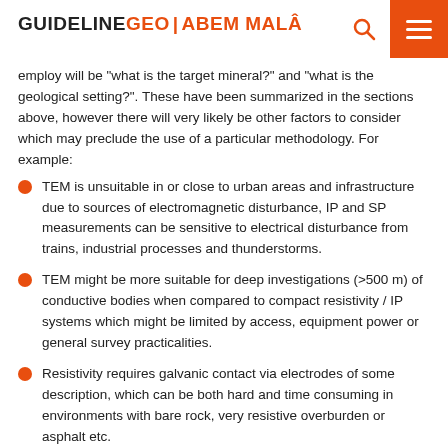GUIDELINEGEO | ABEM MALÅ
employ will be "what is the target mineral?" and "what is the geological setting?". These have been summarized in the sections above, however there will very likely be other factors to consider which may preclude the use of a particular methodology. For example:
TEM is unsuitable in or close to urban areas and infrastructure due to sources of electromagnetic disturbance, IP and SP measurements can be sensitive to electrical disturbance from trains, industrial processes and thunderstorms.
TEM might be more suitable for deep investigations (>500 m) of conductive bodies when compared to compact resistivity / IP systems which might be limited by access, equipment power or general survey practicalities.
Resistivity requires galvanic contact via electrodes of some description, which can be both hard and time consuming in environments with bare rock, very resistive overburden or asphalt etc.